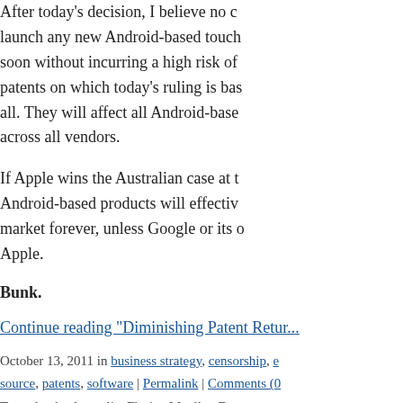After today's decision, I believe no company can launch any new Android-based touch device any time soon without incurring a high risk of... The patents on which today's ruling is based aren't specific at all. They will affect all Android-based products across all vendors.
If Apple wins the Australian case at the end of the day, Android-based products will effectively be banned from the market forever, unless Google or its device partners license Apple.
Bunk.
Continue reading "Diminishing Patent Retur...
October 13, 2011 in business strategy, censorship, e... source, patents, software | Permalink | Comments (0... Tags: Apple, Australia, Florian Mueller, Fosspatents, ... patents
SEPTEMBER 13, 2011
Hope For Open Amid the Ru...
These are tough times to be for open source.
Patent and copyright extremists are wreckin...